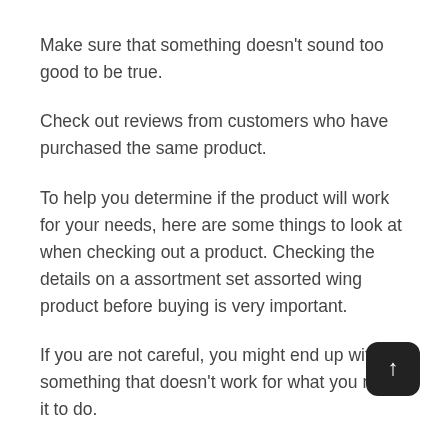Make sure that something doesn't sound too good to be true.
Check out reviews from customers who have purchased the same product.
To help you determine if the product will work for your needs, here are some things to look at when checking out a product. Checking the details on a assortment set assorted wing product before buying is very important.
If you are not careful, you might end up with something that doesn't work for what you need it to do.
Customers who take time to check these details notice that they get more for their money than if they